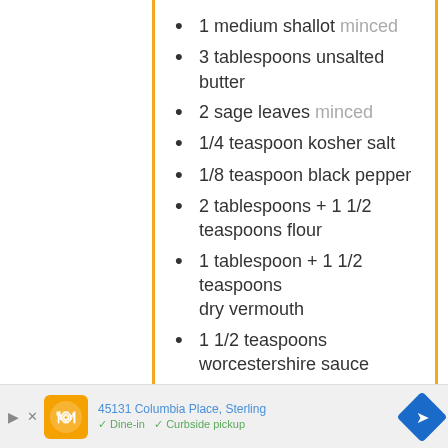1 medium shallot minced
3 tablespoons unsalted butter
2 sage leaves minced
1/4 teaspoon kosher salt
1/8 teaspoon black pepper
2 tablespoons + 1 1/2 teaspoons flour
1 tablespoon + 1 1/2 teaspoons dry vermouth
1 1/2 teaspoons worcestershire sauce
1 teaspoon gravy master
45131 Columbia Place, Sterling • Dine-in • Curbside pickup